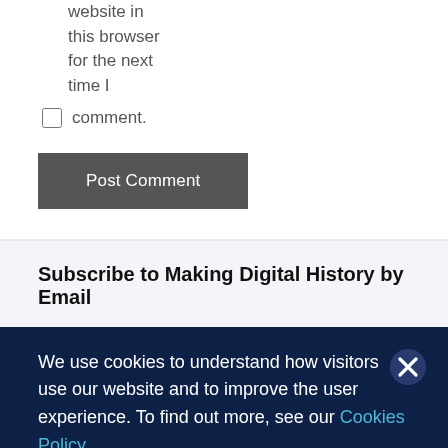website in this browser for the next time I
comment.
Post Comment
Subscribe to Making Digital History by Email
We use cookies to understand how visitors use our website and to improve the user experience. To find out more, see our Cookies Policy.